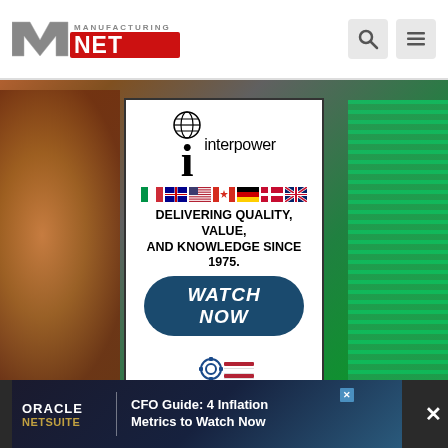Manufacturing.net
[Figure (advertisement): Interpower advertisement: logo with globe icon and stylized 'i', row of international flags (Italy, Australia, USA, Canada, Germany, Denmark, UK), bold text 'DELIVERING QUALITY, VALUE, AND KNOWLEDGE SINCE 1975.', blue rounded 'WATCH NOW' button, Made In America gear/flag badge]
[Figure (advertisement): Oracle NetSuite banner ad: 'CFO Guide: 4 Inflation Metrics to Watch Now']